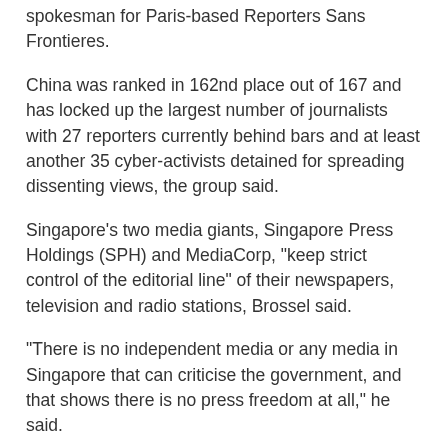spokesman for Paris-based Reporters Sans Frontieres.
China was ranked in 162nd place out of 167 and has locked up the largest number of journalists with 27 reporters currently behind bars and at least another 35 cyber-activists detained for spreading dissenting views, the group said.
Singapore's two media giants, Singapore Press Holdings (SPH) and MediaCorp, "keep strict control of the editorial line" of their newspapers, television and radio stations, Brossel said.
"There is no independent media or any media in Singapore that can criticise the government, and that shows there is no press freedom at all," he said.
SPH is a near-monopoly publishing group with state links that was formerly run by an ex-director of the Internal Security Department. MediaCorp is 100 percent-owned by the government and mainly operates free-to-air television stations.